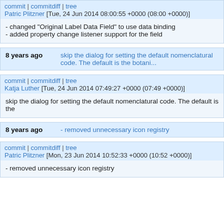commit | commitdiff | tree
Patric Plitzner [Tue, 24 Jun 2014 08:00:55 +0000 (08:00 +0000)]
- changed "Original Label Data Field" to use data binding
- added property change listener support for the field
8 years ago    skip the dialog for setting the default nomenclatural code. The default is the botani...
commit | commitdiff | tree
Katja Luther [Tue, 24 Jun 2014 07:49:27 +0000 (07:49 +0000)]
skip the dialog for setting the default nomenclatural code. The default is the
8 years ago    - removed unnecessary icon registry
commit | commitdiff | tree
Patric Plitzner [Mon, 23 Jun 2014 10:52:33 +0000 (10:52 +0000)]
- removed unnecessary icon registry